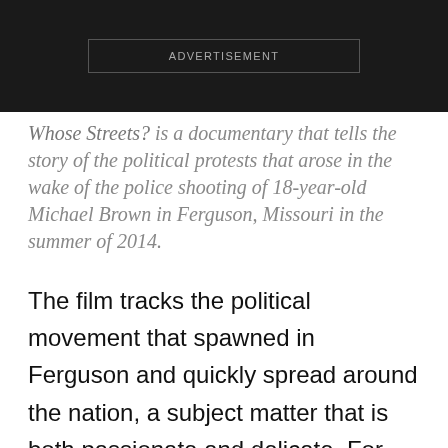[Figure (other): Advertisement banner placeholder with dark background and bordered box labeled ADVERTISEMENT]
Whose Streets? is a documentary that tells the story of the political protests that arose in the wake of the police shooting of 18-year-old Michael Brown in Ferguson, Missouri in the summer of 2014.
The film tracks the political movement that spawned in Ferguson and quickly spread around the nation, a subject matter that is both passionate and delicate. For colorists Adam Inglis and Tif Luckenbill at Post Factory NY tasked with grading the film